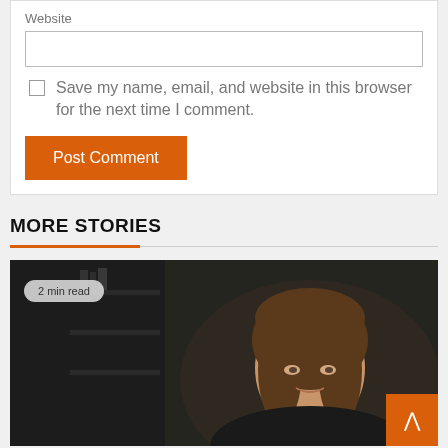Website
Save my name, email, and website in this browser for the next time I comment.
Post Comment
MORE STORIES
2 min read
[Figure (photo): Portrait photo of a woman with brown hair, smiling, in front of a dark background with bookshelves]